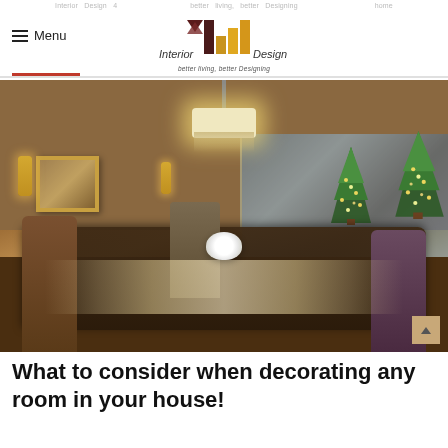Interior Design 4 — better living, better Designing
[Figure (photo): Elegantly decorated dining room with crystal chandelier, Christmas trees, floral centerpiece, set dining table with crystal glassware and gold-rimmed plates, wall sconces, and a large mirror reflecting the room.]
What to consider when decorating any room in your house!